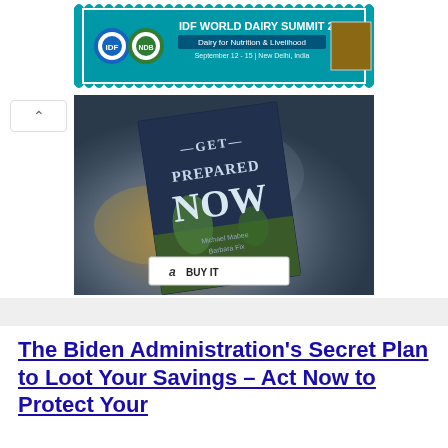[Figure (photo): IDF World Dairy Summit 2022 advertisement banner with stamp-style border, teal background, logos, and text 'IDF WORLD DAIRY SUMMIT 2022 - Dairy for Nutrition & Livelihood, September 12-15, New Delhi, India']
[Figure (photo): Book advertisement showing the book 'Get Prepared Now' on a dramatic stormy background with a 'Buy It' button on Amazon]
The Biden Administration's Secret Plan to Loot Your Savings – Act Now to Protect Your